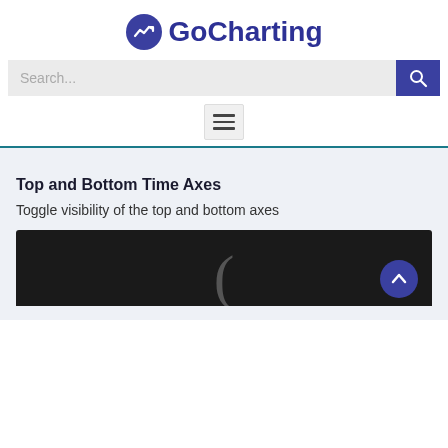GoCharting
Search...
[Figure (screenshot): Hamburger menu button icon]
Top and Bottom Time Axes
Toggle visibility of the top and bottom axes
[Figure (screenshot): Dark background chart screenshot showing a parenthesis symbol]